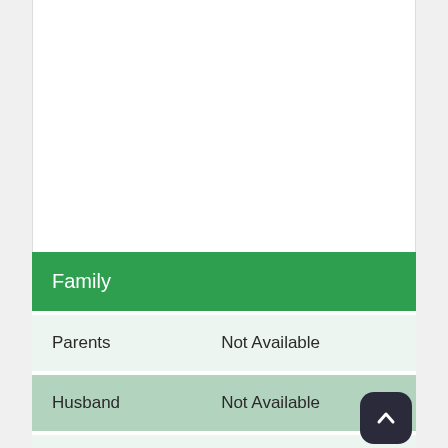| Family |  |
| --- | --- |
| Parents | Not Available |
| Husband | Not Available |
| Sibling | Not Available |